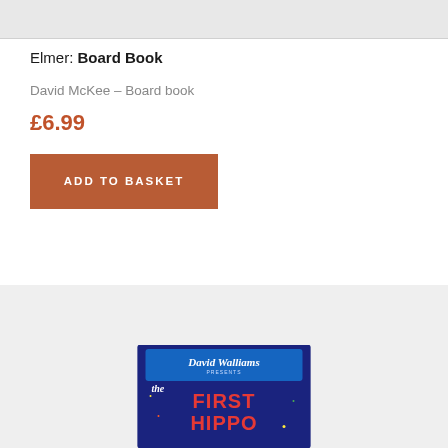[Figure (screenshot): Top portion of a book product image strip, partially cropped]
Elmer: Board Book
David McKee – Board book
£6.99
ADD TO BASKET
[Figure (photo): Book cover for 'The First Hippo' presented by David Walliams, dark blue background with stars and a blue ribbon banner]